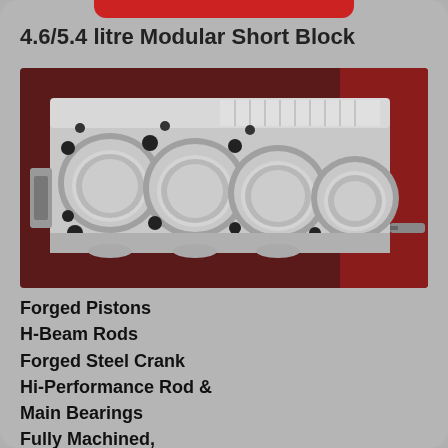4.6/5.4 litre Modular Short Block
[Figure (photo): Photograph of a 4.6/5.4 litre Ford Modular engine short block assembly, showing the aluminum engine block from the top with four visible pistons in bores, H-beam connecting rods, and crankshaft journals, set against a workshop background with red equipment.]
Forged Pistons
H-Beam Rods
Forged Steel Crank
Hi-Performance Rod &
Main Bearings
Fully Machined,
Balanced & Assembled